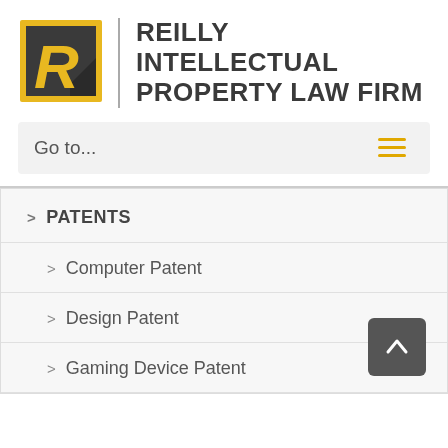[Figure (logo): Reilly Intellectual Property Law Firm logo: gold/yellow square with dark R letter and dark triangle, vertical divider line, firm name in bold dark uppercase text]
[Figure (screenshot): Navigation bar with 'Go to...' text and yellow hamburger menu icon on right]
> PATENTS
> Computer Patent
> Design Patent
> Gaming Device Patent